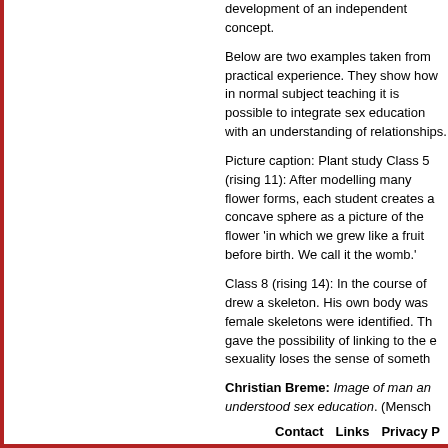development of an independent concept.
Below are two examples taken from practical experience. They show how in normal subject teaching it is possible to integrate sex education with an understanding of relationships.
Picture caption: Plant study Class 5 (rising 11): After modelling many flower forms, each student creates a concave sphere as a picture of the flower 'in which we grew like a fruit before birth. We call it the womb.'
Class 8 (rising 14): In the course of drew a skeleton. His own body was female skeletons were identified. Th gave the possibility of linking to the sexuality loses the sense of someth
Christian Breme: Image of man an understood sex education. (Mensch Sexualerziehung aus spirituellem Ve
Contact   Links   Privacy P